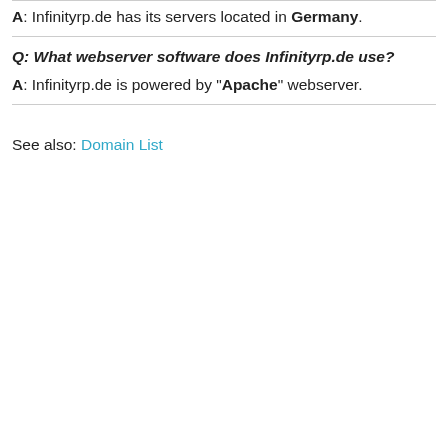A: Infinityrp.de has its servers located in Germany.
Q: What webserver software does Infinityrp.de use?
A: Infinityrp.de is powered by "Apache" webserver.
See also: Domain List